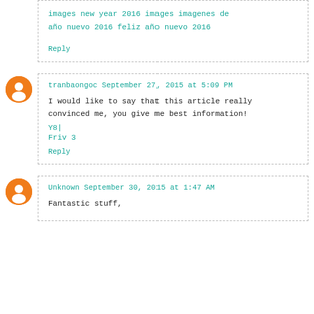images new year 2016 images imagenes de año nuevo 2016 feliz año nuevo 2016
Reply
tranbaongoc September 27, 2015 at 5:09 PM
I would like to say that this article really convinced me, you give me best information! Y8| Friv 3
Reply
Unknown September 30, 2015 at 1:47 AM
Fantastic stuff,